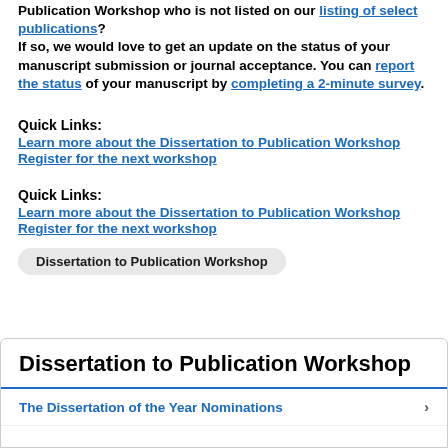Publication Workshop who is not listed on our listing of select publications? If so, we would love to get an update on the status of your manuscript submission or journal acceptance. You can report the status of your manuscript by completing a 2-minute survey.
Quick Links:
Learn more about the Dissertation to Publication Workshop
Register for the next workshop
Quick Links:
Learn more about the Dissertation to Publication Workshop
Register for the next workshop
Dissertation to Publication Workshop
Dissertation to Publication Workshop
The Dissertation of the Year Nominations